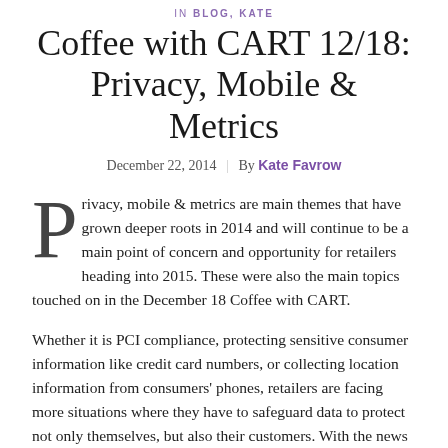in BLOG, KATE
Coffee with CART 12/18: Privacy, Mobile & Metrics
December 22, 2014  |  By Kate Favrow
Privacy, mobile & metrics are main themes that have grown deeper roots in 2014 and will continue to be a main point of concern and opportunity for retailers heading into 2015. These were also the main topics touched on in the December 18 Coffee with CART.
Whether it is PCI compliance, protecting sensitive consumer information like credit card numbers, or collecting location information from consumers' phones, retailers are facing more situations where they have to safeguard data to protect not only themselves, but also their customers. With the news of hackings and breaches in the news almost monthly, the hunt for consumer data isn't